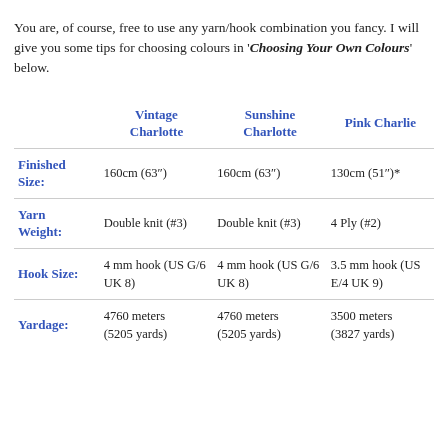You are, of course, free to use any yarn/hook combination you fancy. I will give you some tips for choosing colours in 'Choosing Your Own Colours' below.
|  | Vintage Charlotte | Sunshine Charlotte | Pink Charlie |
| --- | --- | --- | --- |
| Finished Size: | 160cm (63") | 160cm (63") | 130cm (51")* |
| Yarn Weight: | Double knit (#3) | Double knit (#3) | 4 Ply (#2) |
| Hook Size: | 4 mm hook (US G/6 UK 8) | 4 mm hook (US G/6 UK 8) | 3.5 mm hook (US E/4 UK 9) |
| Yardage: | 4760 meters (5205 yards) | 4760 meters (5205 yards) | 3500 meters (3827 yards) |